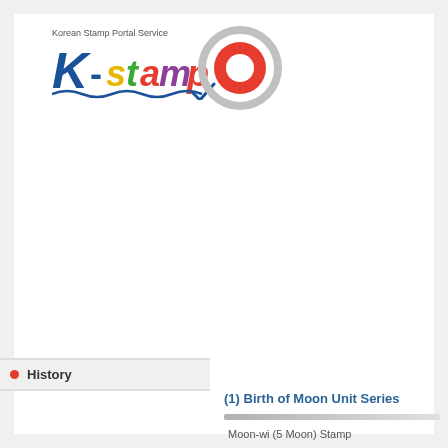[Figure (logo): Korean Stamp Portal Service K-stamp logo with colorful lettering and blue checkmark wave, plus partial red circle icon]
(1) Birth of Moon Unit Series
History
Moon-wi (5 Moon) Stamp